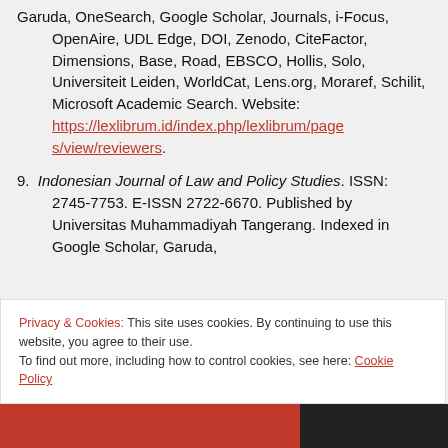Garuda, OneSearch, Google Scholar, Journals, i-Focus, OpenAire, UDL Edge, DOI, Zenodo, CiteFactor, Dimensions, Base, Road, EBSCO, Hollis, Solo, Universiteit Leiden, WorldCat, Lens.org, Moraref, Schilit, Microsoft Academic Search. Website: https://lexlibrum.id/index.php/lexlibrum/pages/view/reviewers.
9. Indonesian Journal of Law and Policy Studies. ISSN: 2745-7753. E-ISSN 2722-6670. Published by Universitas Muhammadiyah Tangerang. Indexed in Google Scholar, Garuda,
Privacy & Cookies: This site uses cookies. By continuing to use this website, you agree to their use. To find out more, including how to control cookies, see here: Cookie Policy